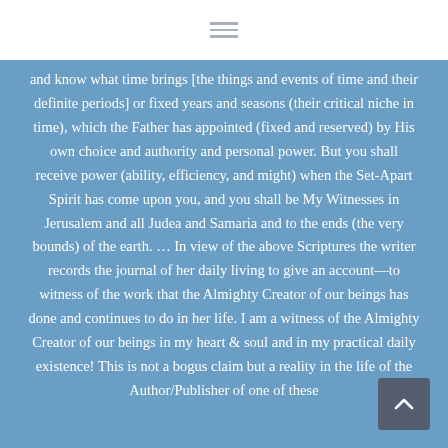and know what time brings [the things and events of time and their definite periods] or fixed years and seasons (their critical niche in time), which the Father has appointed (fixed and reserved) by His own choice and authority and personal power. But you shall receive power (ability, efficiency, and might) when the Set-Apart Spirit has come upon you, and you shall be My Witnesses in Jerusalem and all Judea and Samaria and to the ends (the very bounds) of the earth. … In view of the above Scriptures the writer records the journal of her daily living to give an account—to witness of the work that the Almighty Creator of our beings has done and continues to do in her life. I am a witness of the Almighty Creator of our beings in my heart & soul and in my practical daily existence! This is not a bogus claim but a reality in the life of the Author/Publisher of one of these